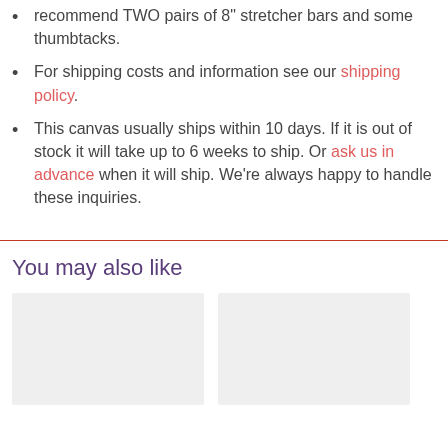recommend TWO pairs of 8" stretcher bars and some thumbtacks.
For shipping costs and information see our shipping policy.
This canvas usually ships within 10 days. If it is out of stock it will take up to 6 weeks to ship. Or ask us in advance when it will ship. We’re always happy to handle these inquiries.
You may also like
[Figure (photo): Two product thumbnail placeholder images (light gray rectangles) displayed side by side.]